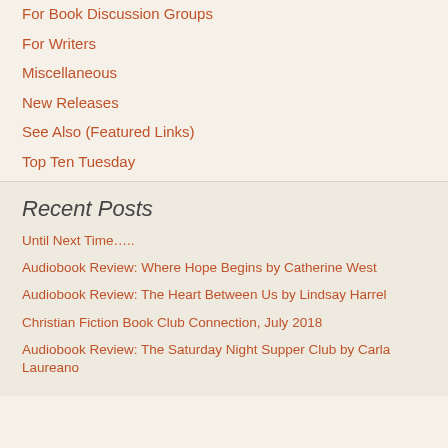For Book Discussion Groups
For Writers
Miscellaneous
New Releases
See Also (Featured Links)
Top Ten Tuesday
Recent Posts
Until Next Time….
Audiobook Review: Where Hope Begins by Catherine West
Audiobook Review: The Heart Between Us by Lindsay Harrel
Christian Fiction Book Club Connection, July 2018
Audiobook Review: The Saturday Night Supper Club by Carla Laureano